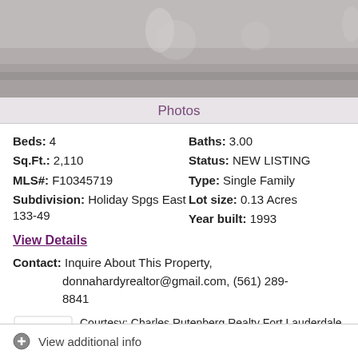[Figure (photo): Blurry/foggy outdoor photo of a property, grayscale tones]
Photos
Beds: 4
Sq.Ft.: 2,110
MLS#: F10345719
Subdivision: Holiday Spgs East 133-49
Baths: 3.00
Status: NEW LISTING
Type: Single Family
Lot size: 0.13 Acres
Year built: 1993
View Details
Contact: Inquire About This Property, donnahardyrealtor@gmail.com, (561) 289-8841
Courtesy: Charles Rutenberg Realty Fort Lauderdale
Request Info   Save Property
View additional info